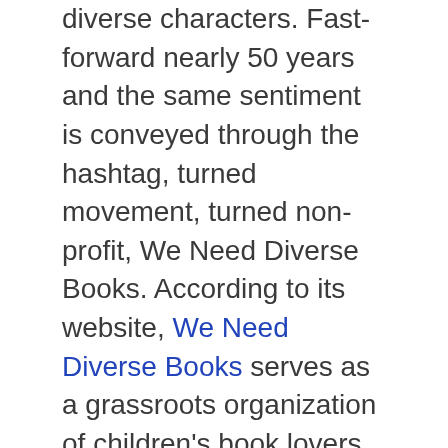diverse characters. Fast-forward nearly 50 years and the same sentiment is conveyed through the hashtag, turned movement, turned non-profit, We Need Diverse Books. According to its website, We Need Diverse Books serves as a grassroots organization of children's book lovers who advocate for essential changes in the publishing industry to produce and promote literature that reflects and honors the lives of all young people. The ongoing work of readers, reviewers, authors and publishing houses connected to the movement has changed the industry in significant ways. However, there is still a long way to go before inclusivity is the industry standard. This WOW Currents post highlights newer titles that move the work forward by reflecting the lives of marginalized groups with depth and complexity. We also consider how some